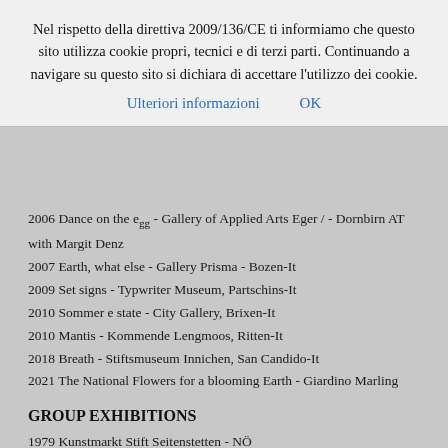Nel rispetto della direttiva 2009/136/CE ti informiamo che questo sito utilizza cookie propri, tecnici e di terzi parti. Continuando a navigare su questo sito si dichiara di accettare l'utilizzo dei cookie.
Ulteriori informazioni   OK
2006 Dance on the egg - Gallery of Applied Arts Eger / - Dornbirn AT with Margit Denz
2007 Earth, what else - Gallery Prisma - Bozen-It
2009 Set signs - Typwriter Museum, Partschins-It
2010 Sommer e state - City Gallery, Brixen-It
2010 Mantis - Kommende Lengmoos, Ritten-It
2018 Breath - Stiftsmuseum Innichen, San Candido-It
2021 The National Flowers for a blooming Earth - Giardino Marling
GROUP EXHIBITIONS
1979 Kunstmarkt Stift Seitenstetten - NÖ
1983 Henn - Vienna
1984 Jugend gestaltet - Munich
1984 A New Coffee Landscape - Demel - Vienna
1985 Hofpavillon - Innsbruck
1985 Museo delle Ceramiche - Faenza